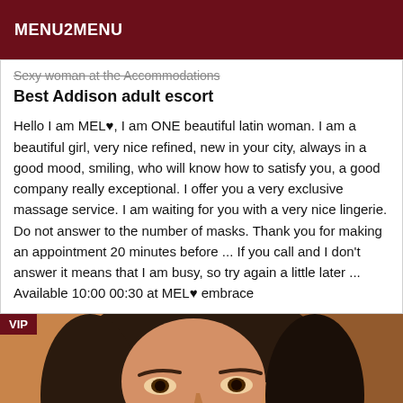MENU2MENU
Best Addison adult escort
Hello I am MEL♥, I am ONE beautiful latin woman. I am a beautiful girl, very nice refined, new in your city, always in a good mood, smiling, who will know how to satisfy you, a good company really exceptional. I offer you a very exclusive massage service. I am waiting for you with a very nice lingerie. Do not answer to the number of masks. Thank you for making an appointment 20 minutes before ... If you call and I don't answer it means that I am busy, so try again a little later ... Available 10:00 00:30 at MEL♥ embrace
[Figure (photo): Close-up photo of a young woman with dark hair, warm orange-tinted background, VIP badge in top-left corner]